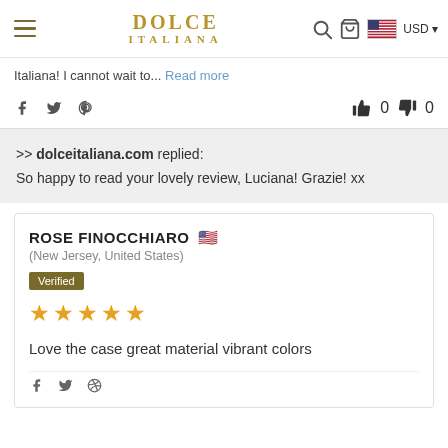Dolce Italiana — USD navigation header
Carretto phone case is beautiful I Love Love my... 13 ProMax case and Carretto... you Dolce Italiana! I cannot wait to... Read more
>> dolceitaliana.com replied: So happy to read your lovely review, Luciana! Grazie! xx
ROSE FINOCCHIARO 🇺🇸 (New Jersey, United States)
Verified
★★★★★
Love the case great material vibrant colors